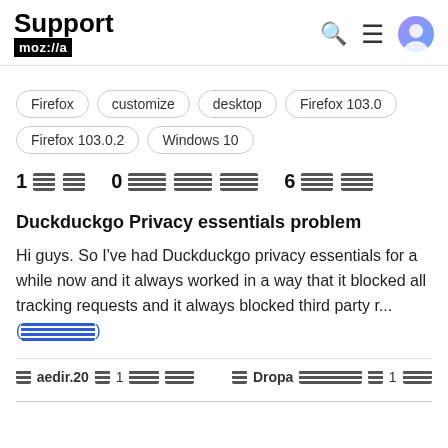Support mozilla
Firefox
customize
desktop
Firefox 103.0
Firefox 103.0.2
Windows 10
1 [icon] 0 [icon] 6 [icon]
Duckduckgo Privacy essentials problem
Hi guys. So I've had Duckduckgo privacy essentials for a while now and it always worked in a way that it blocked all tracking requests and it always blocked third party r... (read more)
aedir.20 1 [icons]   Dropa [icons] 1 [icon]